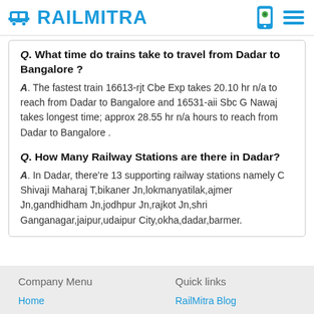RAILMITRA
Q. What time do trains take to travel from Dadar to Bangalore ?
A. The fastest train 16613-rjt Cbe Exp takes 20.10 hr n/a to reach from Dadar to Bangalore and 16531-aii Sbc G Nawaj takes longest time; approx 28.55 hr n/a hours to reach from Dadar to Bangalore .
Q. How Many Railway Stations are there in Dadar?
A. In Dadar, there're 13 supporting railway stations namely C Shivaji Maharaj T,bikaner Jn,lokmanyatilak,ajmer Jn,gandhidham Jn,jodhpur Jn,rajkot Jn,shri Ganganagar,jaipur,udaipur City,okha,dadar,barmer.
Company Menu | Quick links | Home | RailMitra Blog